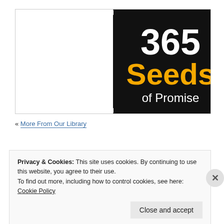[Figure (logo): 365 Seeds of Promise logo: black circular background with '365' in large white bold text, 'Seeds' in large yellow/orange bold text, and 'of Promise' in white medium text below]
« More From Our Library
Privacy & Cookies: This site uses cookies. By continuing to use this website, you agree to their use.
To find out more, including how to control cookies, see here: Cookie Policy
Close and accept